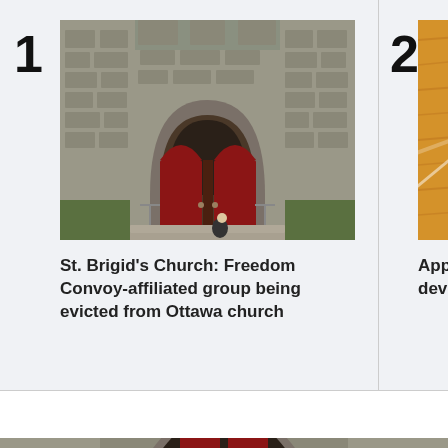1
[Figure (photo): Stone church with large red arched doors and steps, with a person sitting at the base]
St. Brigid's Church: Freedom Convoy-affiliated group being evicted from Ottawa church
2
[Figure (photo): Partial view of a wooden surface, possibly a basketball court floor, with a rope or cable visible]
Apple devic
CTVNEWS.CA TOP STORIES
[Figure (photo): Close-up of stone church facade with red arched door, partially cropped]